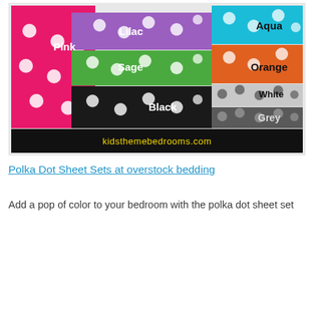[Figure (photo): Photo of polka dot sheet sets in multiple colors: Pink, Aqua, Lilac, Orange, Sage, White, Black, Grey. Folded fabric stacks arranged side-by-side showing polka dot patterns. Black banner at bottom reads kidsthemebedrooms.com]
Polka Dot Sheet Sets at overstock bedding
Add a pop of color to your bedroom with the polka dot sheet set